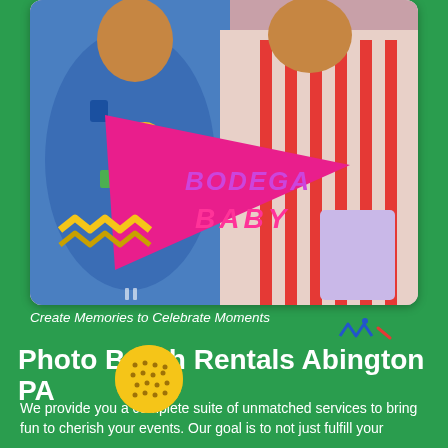[Figure (photo): Photo booth image of two people posing. One person wears a blue patterned outfit, the other wears a red and white striped blazer. A pink triangular prop sign reads 'BODEGA BABY' in purple and pink text. Yellow zigzag decorations are visible on the left. The photo has a white rounded border frame.]
Create Memories to Celebrate Moments
Photo Booth Rentals Abington PA
We provide you a complete suite of unmatched services to bring fun to cherish your events. Our goal is to not just fulfill your